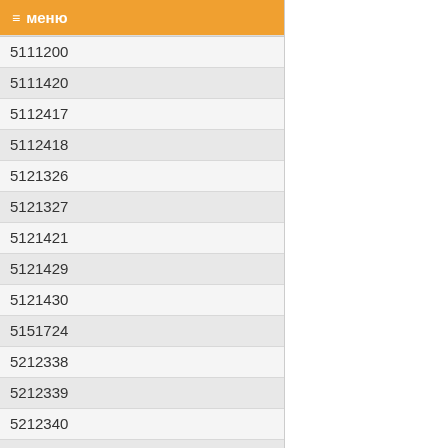≡ меню
| 5111200 |
| 5111420 |
| 5112417 |
| 5112418 |
| 5121326 |
| 5121327 |
| 5121421 |
| 5121429 |
| 5121430 |
| 5151724 |
| 5212338 |
| 5212339 |
| 5212340 |
| 5212733 |
| 5212737 |
| 5241127 |
| 5241128 |
| 5241922 |
| 5241923 |
| 5841124 |
| 6061111 |